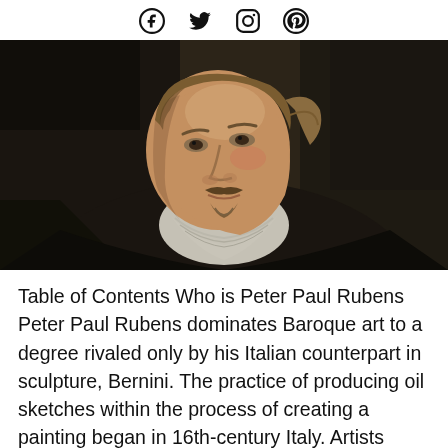Social media icons: Facebook, Twitter, Instagram, Pinterest
[Figure (photo): Portrait painting of Peter Paul Rubens, a Baroque-era man with curly brown hair, mustache and goatee, wearing a white ruffled collar and dark coat, depicted in three-quarter view against a dark background.]
Table of Contents Who is Peter Paul Rubens Peter Paul Rubens dominates Baroque art to a degree rivaled only by his Italian counterpart in sculpture, Bernini. The practice of producing oil sketches within the process of creating a painting began in 16th-century Italy. Artists such as Polidoro da Caravaggio, Beccafumi, Federico Barrocci, Tintoretto, and